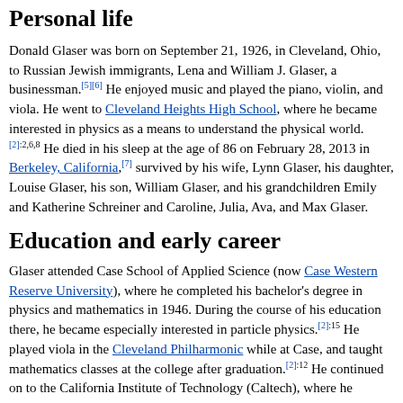Personal life
Donald Glaser was born on September 21, 1926, in Cleveland, Ohio, to Russian Jewish immigrants, Lena and William J. Glaser, a businessman.[5][6] He enjoyed music and played the piano, violin, and viola. He went to Cleveland Heights High School, where he became interested in physics as a means to understand the physical world.[2]:2,6,8 He died in his sleep at the age of 86 on February 28, 2013 in Berkeley, California,[7] survived by his wife, Lynn Glaser, his daughter, Louise Glaser, his son, William Glaser, and his grandchildren Emily and Katherine Schreiner and Caroline, Julia, Ava, and Max Glaser.
Education and early career
Glaser attended Case School of Applied Science (now Case Western Reserve University), where he completed his bachelor's degree in physics and mathematics in 1946. During the course of his education there, he became especially interested in particle physics.[2]:15 He played viola in the Cleveland Philharmonic while at Case, and taught mathematics classes at the college after graduation.[2]:12 He continued on to the California Institute of Technology (Caltech), where he pursued his Ph.D. in physics. His